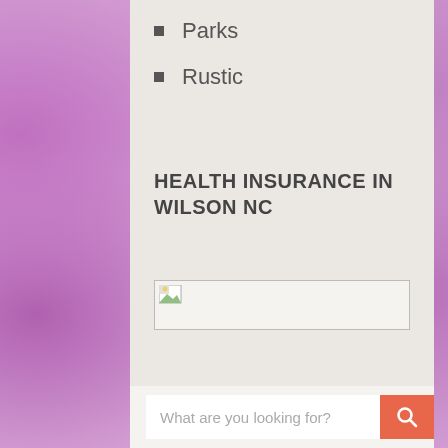Parks
Rustic
HEALTH INSURANCE IN WILSON NC
[Figure (photo): Broken/loading image placeholder with small icon in top-left corner]
What are you looking for?